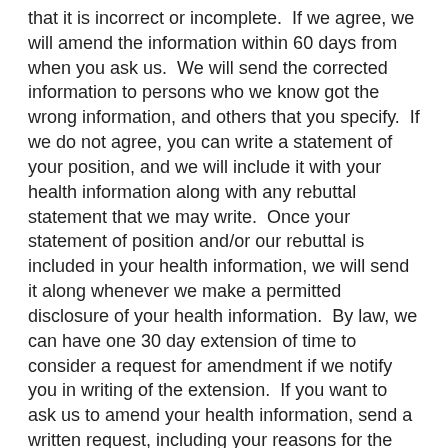that it is incorrect or incomplete.  If we agree, we will amend the information within 60 days from when you ask us.  We will send the corrected information to persons who we know got the wrong information, and others that you specify.  If we do not agree, you can write a statement of your position, and we will include it with your health information along with any rebuttal statement that we may write.  Once your statement of position and/or our rebuttal is included in your health information, we will send it along whenever we make a permitted disclosure of your health information.  By law, we can have one 30 day extension of time to consider a request for amendment if we notify you in writing of the extension.  If you want to ask us to amend your health information, send a written request, including your reasons for the amendment, to the office contact person at the address, fax or E mail shown at the beginning of this Notice.
get a list of the disclosures that we have made of your health information within the past six years (or a shorter period if you want).  You are entitled to one